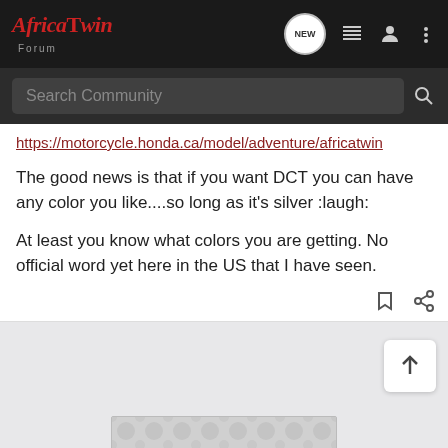Africa Twin Forum — header navigation with search
https://motorcycle.honda.ca/model/adventure/africatwin
The good news is that if you want DCT you can have any color you like....so long as it's silver :laugh:
At least you know what colors you are getting. No official word yet here in the US that I have seen.
[Figure (other): Advertisement placeholder with repeating circular pattern]